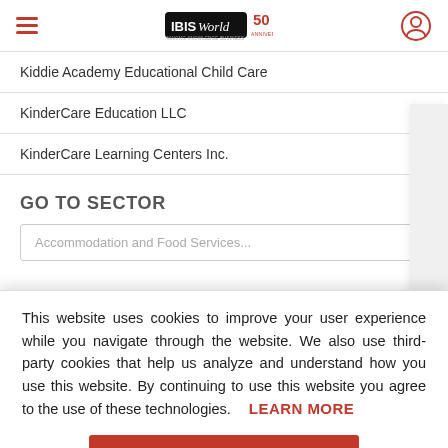IBISWorld 50th Anniversary
Kiddie Academy Educational Child Care
KinderCare Education LLC
KinderCare Learning Centers Inc.
GO TO SECTOR
Accommodation and Food Services (text truncated)
This website uses cookies to improve your user experience while you navigate through the website. We also use third-party cookies that help us analyze and understand how you use this website. By continuing to use this website you agree to the use of these technologies. LEARN MORE
ACCEPT